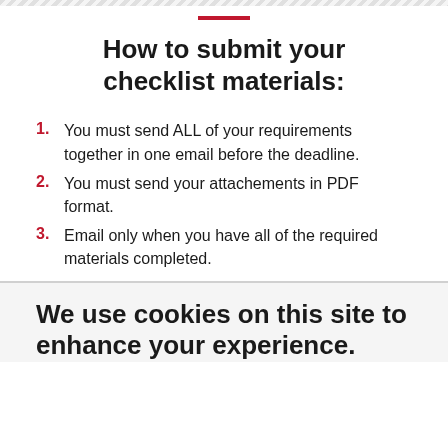How to submit your checklist materials:
You must send ALL of your requirements together in one email before the deadline.
You must send your attachements in PDF format.
Email only when you have all of the required materials completed.
We use cookies on this site to enhance your experience.